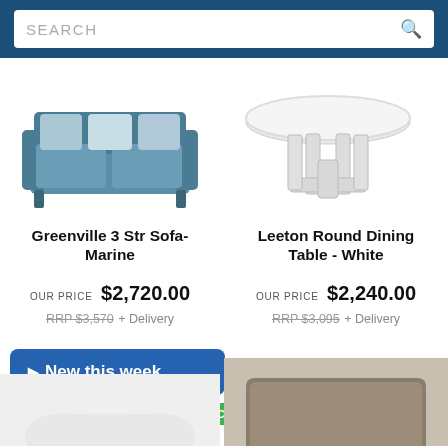SEARCH
[Figure (photo): Blue fabric 3-seater sofa with light grey cushions (Greenville 3 Str Sofa - Marine)]
[Figure (photo): White round dining table with cross-base legs (Leeton Round Dining Table - White)]
Greenville 3 Str Sofa-Marine
Leeton Round Dining Table - White
OUR PRICE $2,720.00
RRP $3,570 + Delivery
OUR PRICE $2,240.00
RRP $3,095 + Delivery
New this week
IN STOCK
IN STOCK
[Figure (photo): Partial view of a white curved sofa/chair at bottom left]
[Figure (photo): Partial view of a dark grey/brown square ottoman at bottom right]